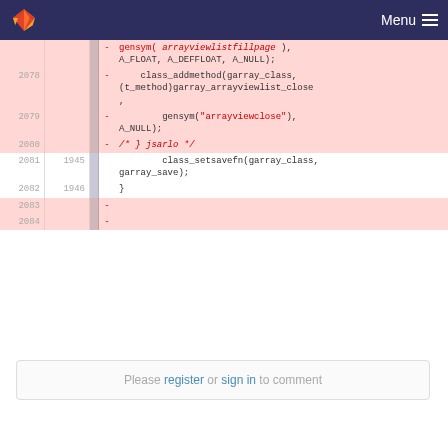GitLab Menu
| old | new | marker | code |
| --- | --- | --- | --- |
|  |  | - | gensym( arrayviewlistfillpage ), A_FLOAT, A_DEFFLOAT, A_NULL); |
| 2078 |  | - | class_addmethod(garray_class, (t_method)garray_arrayviewlist_close , |
| 2079 |  | - | gensym("arrayviewclose"), A_NULL); |
| 2080 |  | - | /* } jsarlo */ |
| 2081 | 1945 |  | class_setsavefn(garray_class, garray_save); |
| 2082 | 1946 |  | } |
| 2083 |  | - |  |
| 2084 |  | - |  |
Please register or sign in to comment